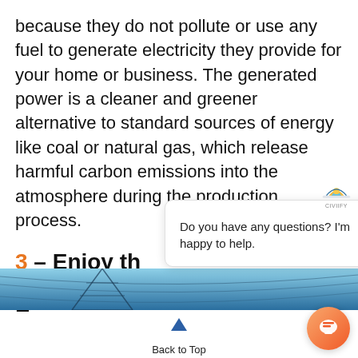because they do not pollute or use any fuel to generate electricity they provide for your home or business. The generated power is a cleaner and greener alternative to standard sources of energy like coal or natural gas, which release harmful carbon emissions into the atmosphere during the production process.
3 – Enjoy the Benefits of Controlling Your Energy
[Figure (photo): Power lines against a blue sky, cropped at the bottom of the page]
[Figure (screenshot): Chat popup overlay with logo, close button (×), and message 'Do you have any questions? I'm happy to help.' plus an orange circular chat button in the bottom right]